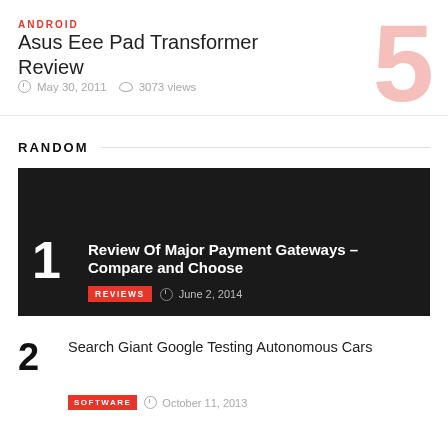ANDROID
Asus Eee Pad Transformer Review
May 30, 2011   3073 views
RANDOM
[Figure (photo): Dark background featured article card with rank number 1]
Review Of Major Payment Gateways – Compare and Choose
REVIEWS   June 2, 2014
Search Giant Google Testing Autonomous Cars
SOFTWARE   October 11, 2013